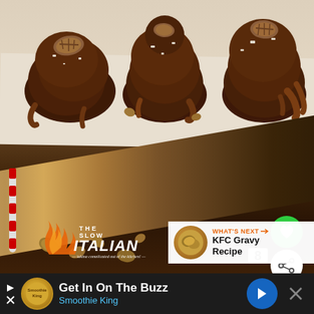[Figure (photo): Two chocolate caramel clusters topped with whole pecans and sea salt flakes, drizzled with chocolate, sitting on parchment paper. Below is a rustic wooden cutting board piece on a dark wood surface with scattered pecan pieces and candy cane. A heart/like button (green circle), share button, and the number 8 are overlaid. 'What's Next' banner in bottom right shows KFC Gravy Recipe. The Slow Italian logo watermark visible bottom center.]
WHAT'S NEXT → KFC Gravy Recipe
8
Get In On The Buzz
Smoothie King